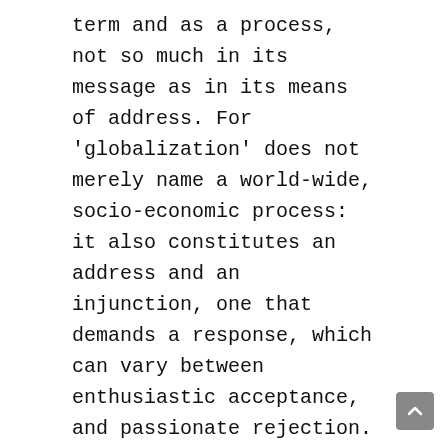term and as a process, not so much in its message as in its means of address. For 'globalization' does not merely name a world-wide, socio-economic process: it also constitutes an address and an injunction, one that demands a response, which can vary between enthusiastic acceptance, and passionate rejection. Or also, resigned indifference, since the primary message conveyed by the word is that there can be no alternative. Except 'fanaticism', 'terrorism', and other forms of brutal irrationality. Globalization, as embodied in 'the media' — television above all, but also to a large extent in the print media — is presented as the only game in town, or rather, in the world. And this message is reinforced by the very existence and